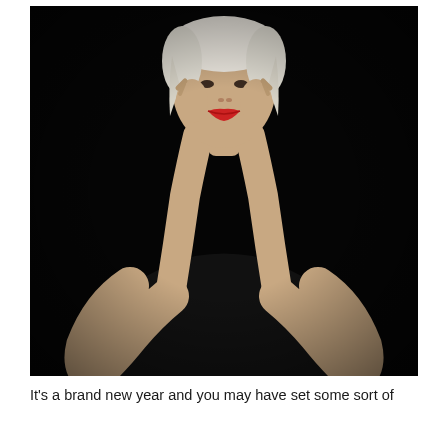[Figure (photo): Portrait photo of a woman with white/blonde hair and red lipstick, wearing a black top, holding her hands up to frame her face, against a black background.]
It's a brand new year and you may have set some sort of